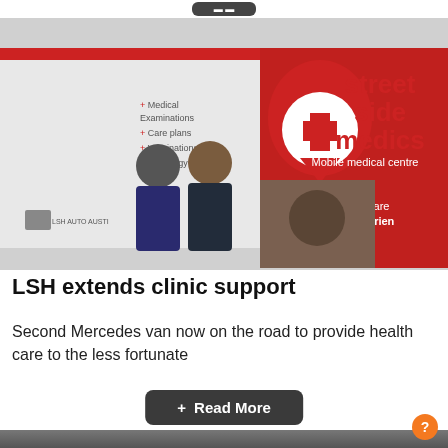[Figure (photo): Photo of two men standing in front of a red and white Street Side Medics mobile medical centre van. The van displays text: 'street side medics Mobile medical centre', 'Medical Examinations', 'Care plans', 'Vaccinations', 'Pathology', 'LSH AUTO AUSTIN', and 'Helping those who are vulnerable & experiencing homelessness'. The van features a red location pin with a white cross logo.]
LSH extends clinic support
Second Mercedes van now on the road to provide health care to the less fortunate
[Figure (screenshot): Dark rounded button with text '+ Read More']
[Figure (photo): Bottom strip showing the top edge of another photo, appears to be a dark rocky or industrial scene with an orange circular help button on the bottom right.]